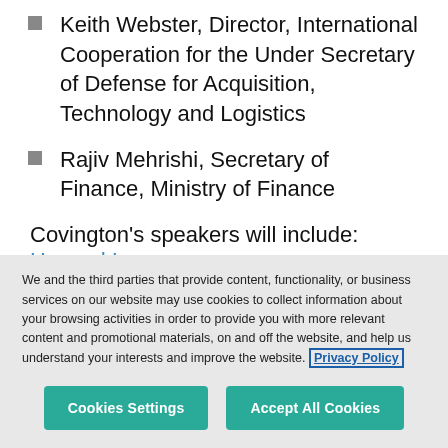Keith Webster, Director, International Cooperation for the Under Secretary of Defense for Acquisition, Technology and Logistics
Rajiv Mehrishi, Secretary of Finance, Ministry of Finance
Covington's speakers will include: Howard L.
We and the third parties that provide content, functionality, or business services on our website may use cookies to collect information about your browsing activities in order to provide you with more relevant content and promotional materials, on and off the website, and help us understand your interests and improve the website. Privacy Policy